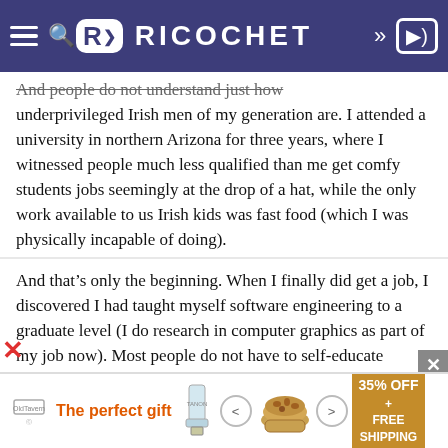RICOCHET
And people do not understand just how underprivileged Irish men of my generation are. I attended a university in northern Arizona for three years, where I witnessed people much less qualified than me get comfy students jobs seemingly at the drop of a hat, while the only work available to us Irish kids was fast food (which I was physically incapable of doing).
And that’s only the beginning. When I finally did get a job, I discovered I had taught myself software engineering to a graduate level (I do research in computer graphics as part of my job now). Most people do not have to self-educate themselves to that degree just to get an entry-level engineering job.
[Figure (screenshot): Advertisement banner: The perfect gift, with navigation arrows, food product image, and 35% OFF + FREE SHIPPING offer in gold/orange banner]